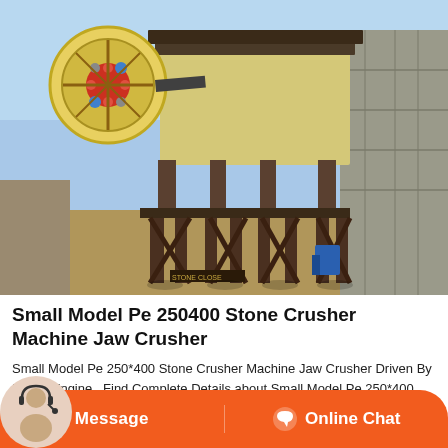[Figure (photo): Outdoor photo of a small jaw crusher machine (Pe 250*400) mounted on elevated steel frame legs, with a large red-centered flywheel visible at upper left, yellow body, dark steel structure, stone wall visible on right side, blue equipment at lower right]
Small Model Pe 250400 Stone Crusher Machine Jaw Crusher
Small Model Pe 250*400 Stone Crusher Machine Jaw Crusher Driven By Diesel Engine , Find Complete Details about Small Model Pe 250*400 Stone Crusher Machine Jaw Crusher Driven By Diesel Engine,Jaw Crusher,Cone Crusher,Vsi from Crusher Supplier Manufacturer-Henan Yifan Heavy Industrial Machine...